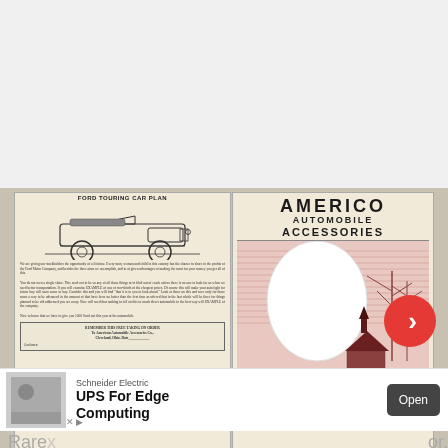[Figure (photo): Screenshot of a web page viewer showing two vintage advertisement pages side by side. Left page: Ford Touring Car advertisement with illustration of early automobile and body text. Right page: Americo Automobile Accessories advertisement with decorative illustration of a night scene with figures, car, house. A red navigation arrow button appears on the right edge. Below the main image is an ad banner for Schneider Electric UPS For Edge Computing. Partial text at bottom reads 'Rare...' and '...or,']
AMERICO AUTOMOBILE ACCESSORIES
Schneider Electric
UPS For Edge Computing
Open
Rare...or,